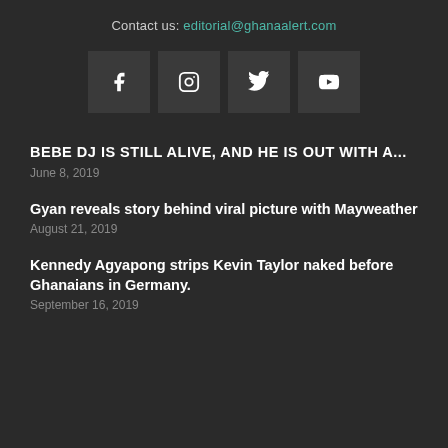Contact us: editorial@ghanaalert.com
[Figure (other): Social media icons: Facebook, Instagram, Twitter, YouTube]
BEBE DJ IS STILL ALIVE, AND HE IS OUT WITH A...
June 8, 2019
Gyan reveals story behind viral picture with Mayweather
August 21, 2019
Kennedy Agyapong strips Kevin Taylor naked before Ghanaians in Germany.
September 16, 2019